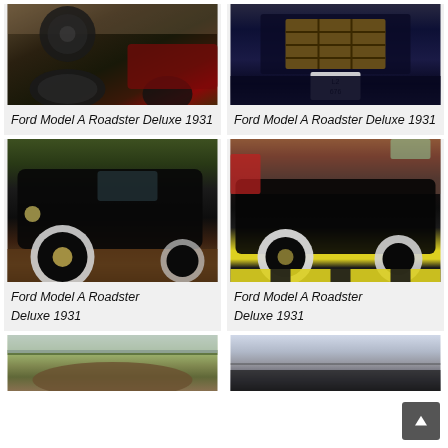[Figure (photo): Rear view of a classic dark car at a car show, Ford Model A Roadster Deluxe 1931]
Ford Model A Roadster Deluxe 1931
[Figure (photo): Rear view of a blue classic car with wooden rack, Ford Model A Roadster Deluxe 1931]
Ford Model A Roadster Deluxe 1931
[Figure (photo): Side view of dark classic car with white wall tires, Ford Model A Roadster Deluxe 1931]
Ford Model A Roadster Deluxe 1931
[Figure (photo): Side view of black classic car with white wall tires in a garage, Ford Model A Roadster Deluxe 1931]
Ford Model A Roadster Deluxe 1931
[Figure (photo): Outdoor landscape photo, partially visible]
[Figure (photo): Outdoor photo with sky, partially visible]